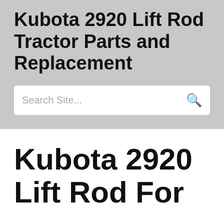Kubota 2920 Lift Rod Tractor Parts and Replacement
[Figure (screenshot): Search bar with placeholder text 'Search Site...' and a search icon on the right]
Kubota 2920 Lift Rod For